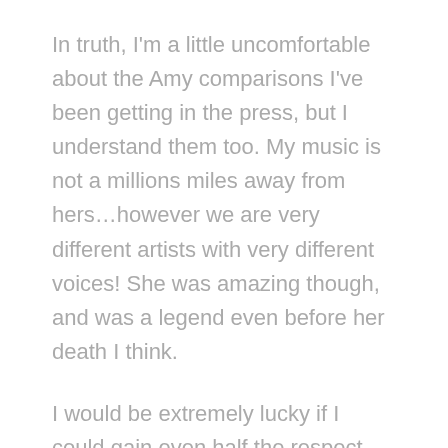In truth, I'm a little uncomfortable about the Amy comparisons I've been getting in the press, but I understand them too. My music is not a millions miles away from hers…however we are very different artists with very different voices! She was amazing though, and was a legend even before her death I think.
I would be extremely lucky if I could gain even half the respect she commanded with her incredible music. Working with Paul was such a wonderful experience, he taught me a great deal about how to structure my songwriting, but he also encouraged me to write from the heart and be